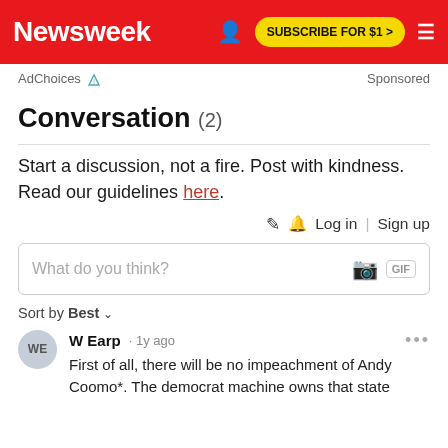Newsweek | SUBSCRIBE FOR $1 >
AdChoices  Sponsored
Conversation (2)
Start a discussion, not a fire. Post with kindness. Read our guidelines here.
Log in | Sign up
What do you think?
Sort by Best
W Earp · 1y ago
First of all, there will be no impeachment of Andy Coomo*. The democrat machine owns that state